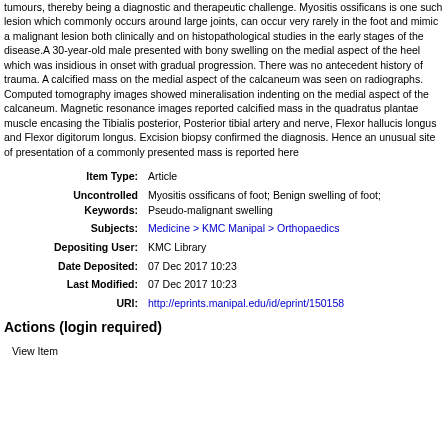tumours, thereby being a diagnostic and therapeutic challenge. Myositis ossificans is one such lesion which commonly occurs around large joints, can occur very rarely in the foot and mimic a malignant lesion both clinically and on histopathological studies in the early stages of the disease.A 30-year-old male presented with bony swelling on the medial aspect of the heel which was insidious in onset with gradual progression. There was no antecedent history of trauma. A calcified mass on the medial aspect of the calcaneum was seen on radiographs. Computed tomography images showed mineralisation indenting on the medial aspect of the calcaneum. Magnetic resonance images reported calcified mass in the quadratus plantae muscle encasing the Tibialis posterior, Posterior tibial artery and nerve, Flexor hallucis longus and Flexor digitorum longus. Excision biopsy confirmed the diagnosis. Hence an unusual site of presentation of a commonly presented mass is reported here
| Field | Value |
| --- | --- |
| Item Type: | Article |
| Uncontrolled Keywords: | Myositis ossificans of foot; Benign swelling of foot; Pseudo-malignant swelling |
| Subjects: | Medicine > KMC Manipal > Orthopaedics |
| Depositing User: | KMC Library |
| Date Deposited: | 07 Dec 2017 10:23 |
| Last Modified: | 07 Dec 2017 10:23 |
| URI: | http://eprints.manipal.edu/id/eprint/150158 |
Actions (login required)
View Item